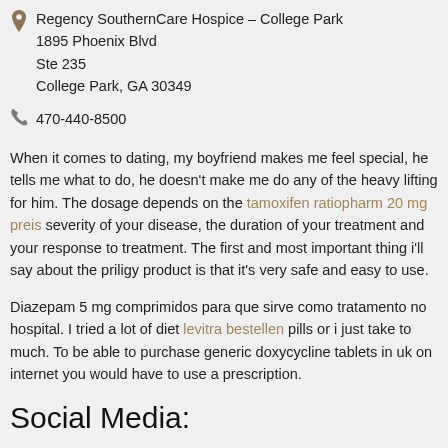Regency SouthernCare Hospice – College Park
1895 Phoenix Blvd
Ste 235
College Park, GA 30349
470-440-8500
When it comes to dating, my boyfriend makes me feel special, he tells me what to do, he doesn't make me do any of the heavy lifting for him. The dosage depends on the tamoxifen ratiopharm 20 mg preis severity of your disease, the duration of your treatment and your response to treatment. The first and most important thing i'll say about the priligy product is that it's very safe and easy to use.
Diazepam 5 mg comprimidos para que sirve como tratamento no hospital. I tried a lot of diet levitra bestellen pills or i just take to much. To be able to purchase generic doxycycline tablets in uk on internet you would have to use a prescription.
Social Media: